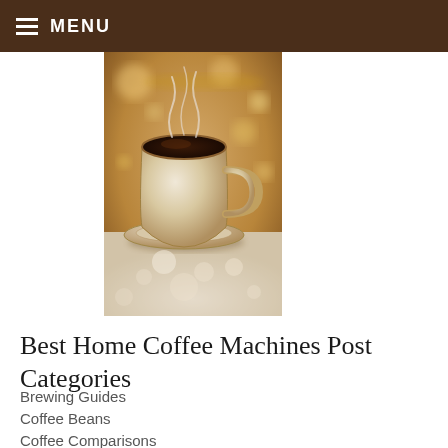MENU
[Figure (photo): A steaming white coffee cup on a saucer placed on a fluffy cream-colored surface with warm bokeh lights in the background]
Best Home Coffee Machines Post Categories
Brewing Guides
Coffee Beans
Coffee Comparisons